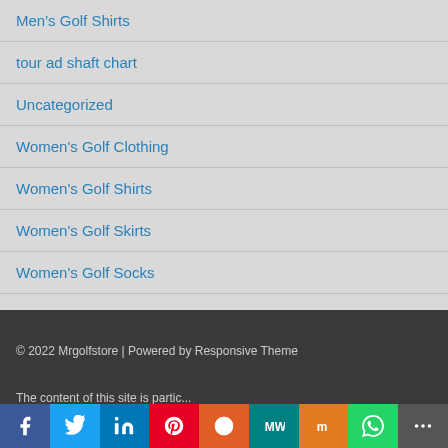Men's Golf Shirts
tour ad shaft chart
Uncategorized
Women's Golf Clothing
Women's Golf Shirts
Women's Golf Skirts
Women's Golf Socks
© 2022 Mrgolfstore | Powered by Responsive Theme